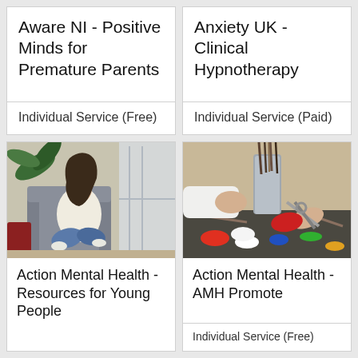Aware NI - Positive Minds for Premature Parents
Individual Service (Free)
Anxiety UK - Clinical Hypnotherapy
Individual Service (Paid)
[Figure (photo): Young woman with long dark hair sitting cross-legged on a grey armchair by a window, wearing a cream sweater and blue jeans, with indoor plants and a red side table in the background]
Action Mental Health - Resources for Young People
[Figure (photo): Close-up of hands using scissors to cut red clay or paper on a colorful art palette surface, with paint brushes in a container in the background]
Action Mental Health - AMH Promote
Individual Service (Free)